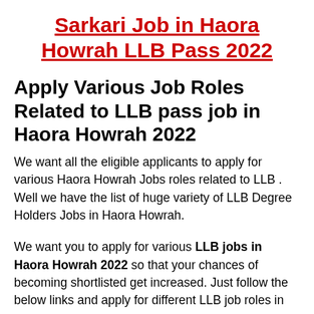Sarkari Job in Haora Howrah LLB Pass 2022
Apply Various Job Roles Related to LLB pass job in Haora Howrah 2022
We want all the eligible applicants to apply for various Haora Howrah Jobs roles related to LLB . Well we have the list of huge variety of LLB Degree Holders Jobs in Haora Howrah.
We want you to apply for various LLB jobs in Haora Howrah 2022 so that your chances of becoming shortlisted get increased. Just follow the below links and apply for different LLB job roles in